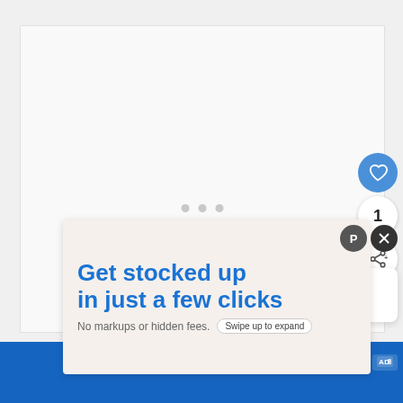[Figure (screenshot): Light gray main content area with three loading dots in the center]
[Figure (screenshot): Blue circular heart/like button with heart icon]
1
[Figure (screenshot): White circular share button with share icon]
[Figure (screenshot): What's Next panel showing thumbnail and text: WHAT'S NEXT → Bissell Pet Hair Eraser:...]
[Figure (screenshot): Advertisement banner: Get stocked up in just a few clicks. No markups or hidden fees. Swipe up to expand]